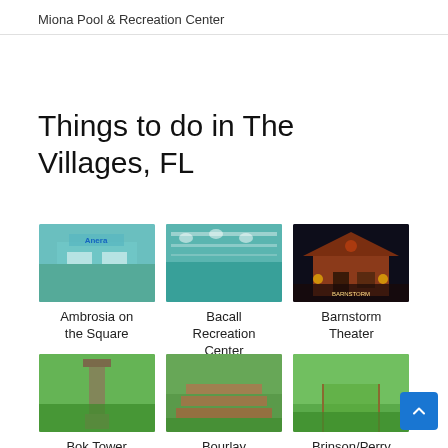Miona Pool & Recreation Center
Things to do in The Villages, FL
[Figure (photo): Exterior storefront of Ambrosia on the Square with teal/aqua colored building]
Ambrosia on the Square
[Figure (photo): Aerial view of Bacall Recreation Center pool with clear blue-green water]
Bacall Recreation Center
[Figure (photo): Barnstorm Theater at night with lit up red barn-style building]
Barnstorm Theater
[Figure (photo): Bok Tower surrounded by trees and greenery]
Bok Tower
[Figure (photo): Bourlay nature area with wooden steps/amphitheater in wooded setting]
Bourlay
[Figure (photo): Brinson/Perry area with green path and fence]
Brinson/Perry